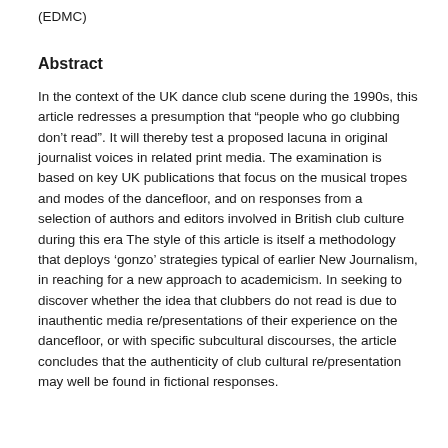(EDMC)
Abstract
In the context of the UK dance club scene during the 1990s, this article redresses a presumption that “people who go clubbing don’t read”. It will thereby test a proposed lacuna in original journalist voices in related print media. The examination is based on key UK publications that focus on the musical tropes and modes of the dancefloor, and on responses from a selection of authors and editors involved in British club culture during this era The style of this article is itself a methodology that deploys ‘gonzo’ strategies typical of earlier New Journalism, in reaching for a new approach to academicism. In seeking to discover whether the idea that clubbers do not read is due to inauthentic media re/presentations of their experience on the dancefloor, or with specific subcultural discourses, the article concludes that the authenticity of club cultural re/presentation may well be found in fictional responses.